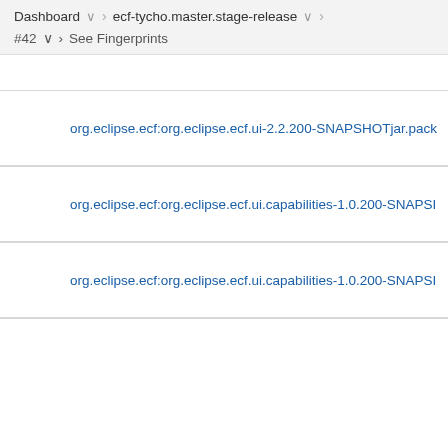Dashboard > ecf-tycho.master.stage-release > #42 > See Fingerprints
org.eclipse.ecf:org.eclipse.ecf.ui-2.2.200-SNAPSHOTjar.pack
org.eclipse.ecf:org.eclipse.ecf.ui.capabilities-1.0.200-SNAPSHOT
org.eclipse.ecf:org.eclipse.ecf.ui.capabilities-1.0.200-SNAPSHOT